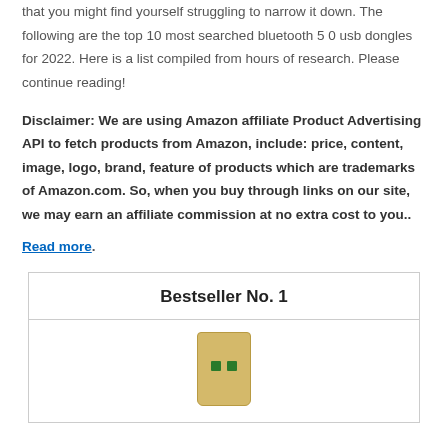that you might find yourself struggling to narrow it down. The following are the top 10 most searched bluetooth 5 0 usb dongles for 2022. Here is a list compiled from hours of research. Please continue reading!
Disclaimer: We are using Amazon affiliate Product Advertising API to fetch products from Amazon, include: price, content, image, logo, brand, feature of products which are trademarks of Amazon.com. So, when you buy through links on our site, we may earn an affiliate commission at no extra cost to you.. Read more.
Bestseller No. 1
[Figure (photo): A gold/yellow colored USB Bluetooth 5.0 dongle adapter with two small green LED indicators on the front face.]